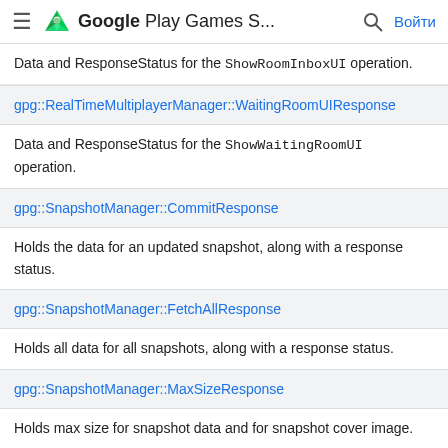Google Play Games S...
Data and ResponseStatus for the ShowRoomInboxUI operation.
gpg::RealTimeMultiplayerManager::WaitingRoomUIResponse
Data and ResponseStatus for the ShowWaitingRoomUI operation.
gpg::SnapshotManager::CommitResponse
Holds the data for an updated snapshot, along with a response status.
gpg::SnapshotManager::FetchAllResponse
Holds all data for all snapshots, along with a response status.
gpg::SnapshotManager::MaxSizeResponse
Holds max size for snapshot data and for snapshot cover image.
gpg::SnapshotManager::OpenResponse